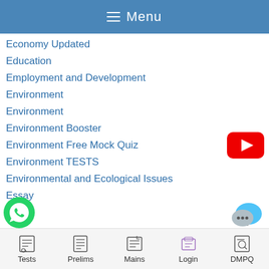≡ Menu
Economy Updated
Education
Employment and Development
Environment
Environment
Environment Booster
Environment Free Mock Quiz
Environment TESTS
Environmental and Ecological Issues
Essay
nics
[Figure (logo): YouTube play button red logo]
[Figure (logo): WhatsApp green phone logo]
[Figure (logo): Chat/messenger bubble icon]
Tests  Prelims  Mains  Login  DMPQ